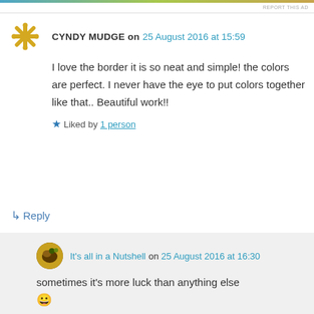[Figure (other): Colored banner bar at top of page]
REPORT THIS AD
CYNDY MUDGE on 25 August 2016 at 15:59
I love the border it is so neat and simple! the colors are perfect. I never have the eye to put colors together like that.. Beautiful work!!
Liked by 1 person
↳ Reply
It's all in a Nutshell on 25 August 2016 at 16:30
sometimes it's more luck than anything else 😀
Like